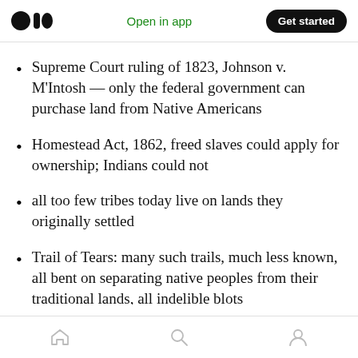Open in app  Get started
Supreme Court ruling of 1823, Johnson v. M’Intosh — only the federal government can purchase land from Native Americans
Homestead Act, 1862, freed slaves could apply for ownership; Indians could not
all too few tribes today live on lands they originally settled
Trail of Tears: many such trails, much less known, all bent on separating native peoples from their traditional lands, all indelible blots on the American escutcheon
Home  Search  Profile